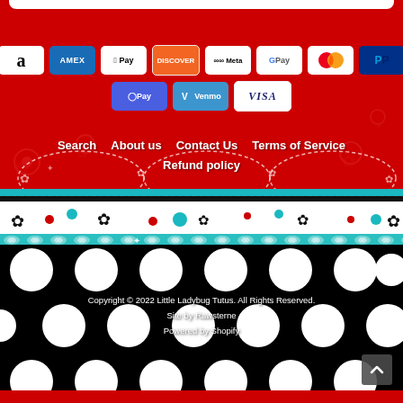[Figure (screenshot): Payment method icons: Amazon, AMEX, Apple Pay, Discover, Meta Pay, Google Pay, Mastercard, PayPal, OPay, Venmo, Visa]
Search
About us
Contact Us
Terms of Service
Refund policy
[Figure (illustration): Decorative banner with dashed circles and floral elements on red background, followed by black/white polka dot pattern section with teal gem ribbon divider]
Copyright © 2022 Little Ladybug Tutus. All Rights Reserved.
Site by Rawsterne
Powered by Shopify